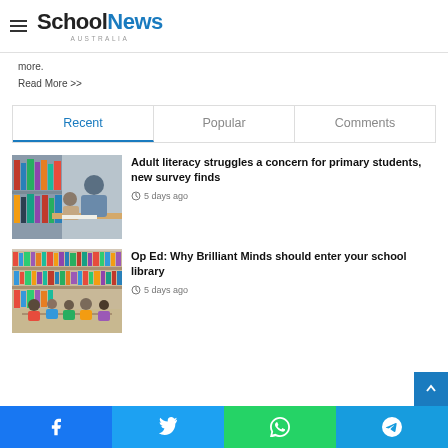SchoolNews AUSTRALIA
the same time. They had to adjust to unfamiliar teaching settings, ... digitising their lessons resulting in doubling their workload, and more.
Read More >>
Recent | Popular | Comments
[Figure (photo): Adult and child studying together at a table with books in background]
Adult literacy struggles a concern for primary students, new survey finds
5 days ago
[Figure (photo): Children sitting at tables in a library with colorful books on shelves]
Op Ed: Why Brilliant Minds should enter your school library
5 days ago
Facebook | Twitter | WhatsApp | Telegram